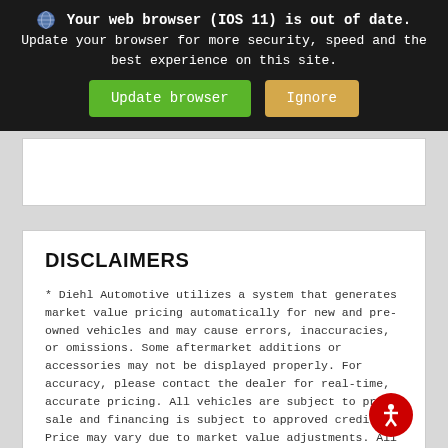Your web browser (IOS 11) is out of date. Update your browser for more security, speed and the best experience on this site. [Update browser] [Ignore]
[Figure (screenshot): Empty white card area in a gray background]
DISCLAIMERS
* Diehl Automotive utilizes a system that generates market value pricing automatically for new and pre-owned vehicles and may cause errors, inaccuracies, or omissions. Some aftermarket additions or accessories may not be displayed properly. For accuracy, please contact the dealer for real-time, accurate pricing. All vehicles are subject to prior sale and financing is subject to approved credit. Price may vary due to market value adjustments. All discounted internet